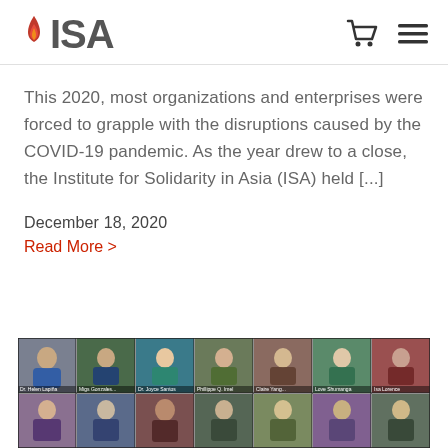ISA
This 2020, most organizations and enterprises were forced to grapple with the disruptions caused by the COVID-19 pandemic. As the year drew to a close, the Institute for Solidarity in Asia (ISA) held [...]
December 18, 2020
Read More >
[Figure (photo): Screenshot of a video conference call with multiple participants arranged in a grid, showing approximately 14 people in two rows during an online meeting.]